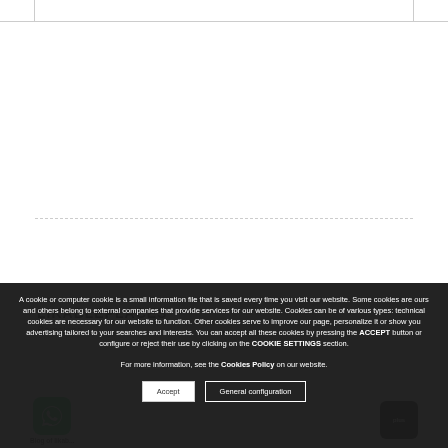[Figure (screenshot): Top white navigation bar with border]
LIKABLEPLACES
Barcelona...
A cookie or computer cookie is a small information file that is saved every time you visit our website. Some cookies are ours and others belong to external companies that provide services for our website. Cookies can be of various types: technical cookies are necessary for our website to function. Other cookies serve to improve our page, personalize it or show you advertising tailored to your searches and interests. You can accept all these cookies by pressing the ACCEPT button or configure or reject their use by clicking on the COOKIE SETTINGS section. For more information, see the Cookies Policy on our website.
Accept
General configuration
[Figure (logo): WhatsApp icon logo - green rounded square]
Blog of likab...
[Figure (logo): Dark rounded icon on right side]